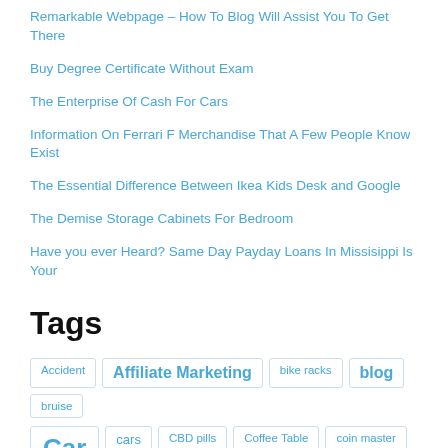Remarkable Webpage – How To Blog Will Assist You To Get There
Buy Degree Certificate Without Exam
The Enterprise Of Cash For Cars
Information On Ferrari F Merchandise That A Few People Know Exist
The Essential Difference Between Ikea Kids Desk and Google
The Demise Storage Cabinets For Bedroom
Have you ever Heard? Same Day Payday Loans In Missisippi Is Your
Tags
Accident  Affiliate Marketing  bike racks  blog  bruise  Car  cars  CBD pills  Coffee Table  coin master